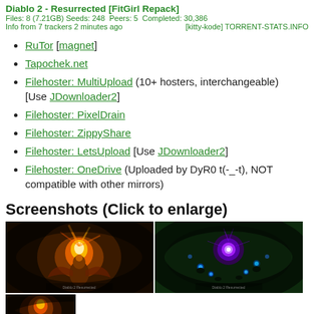Diablo 2 - Resurrected [FitGirl Repack]
Files: 8 (7.21GB) Seeds: 248  Peers: 5  Completed: 30,386
Info from 7 trackers 2 minutes ago          [kitty-kode] TORRENT-STATS.INFO
RuTor [magnet]
Tapochek.net
Filehoster: MultiUpload (10+ hosters, interchangeable) [Use JDownloader2]
Filehoster: PixelDrain
Filehoster: ZippyShare
Filehoster: LetsUpload [Use JDownloader2]
Filehoster: OneDrive (Uploaded by DyR0 t(-_-t), NOT compatible with other mirrors)
Screenshots (Click to enlarge)
[Figure (screenshot): Two game screenshots from Diablo 2 Resurrected side by side - left shows a glowing armored character with fire, right shows a dark scene with a glowing eye/portal and creatures on green background]